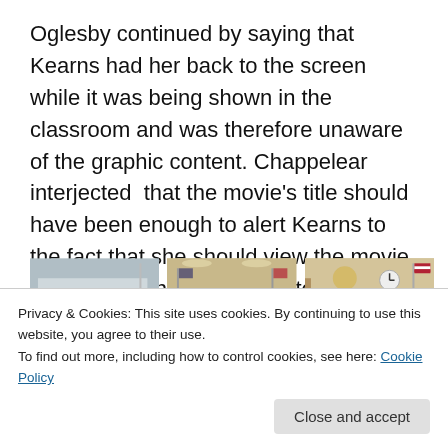Oglesby continued by saying that Kearns had her back to the screen while it was being shown in the classroom and was therefore unaware of the graphic content. Chappelear interjected that the movie's title should have been enough to alert Kearns to the fact that she should view the movie before showing it to her 14 to 18-year-old students.
[Figure (photo): Three photos side by side: a modern glass courthouse building exterior, a courtroom interior with a person standing at the judge's bench, and another courtroom interior showing the bench and witness stand area with an American flag.]
Privacy & Cookies: This site uses cookies. By continuing to use this website, you agree to their use.
To find out more, including how to control cookies, see here: Cookie Policy